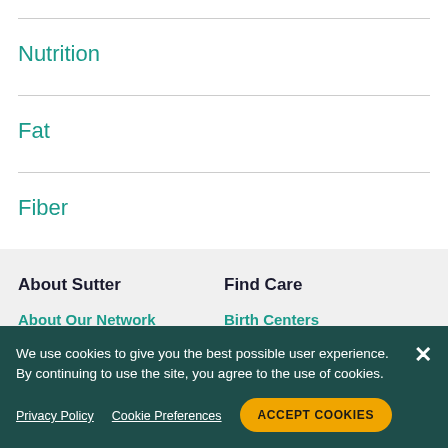Nutrition
Fat
Fiber
About Sutter
Find Care
About Our Network
Birth Centers
We use cookies to give you the best possible user experience. By continuing to use the site, you agree to the use of cookies.
Privacy Policy
Cookie Preferences
ACCEPT COOKIES